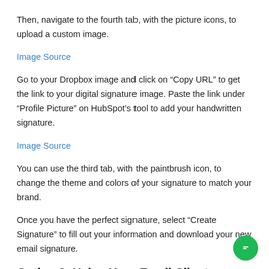Then, navigate to the fourth tab, with the picture icons, to upload a custom image.
Image Source
Go to your Dropbox image and click on “Copy URL” to get the link to your digital signature image. Paste the link under “Profile Picture” on HubSpot’s tool to add your handwritten signature.
Image Source
You can use the third tab, with the paintbrush icon, to change the theme and colors of your signature to match your brand.
Once you have the perfect signature, select “Create Signature” to fill out your information and download your new email signature.
Option 2: Using Your Email Client Signature